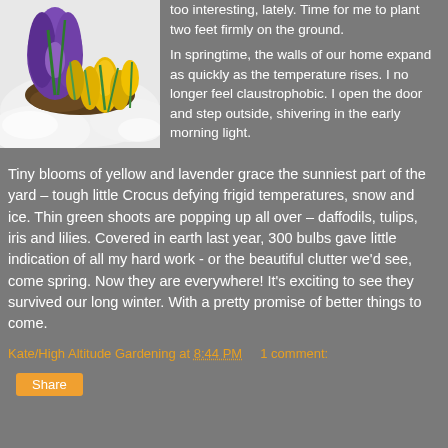[Figure (photo): Photo of purple and yellow crocus flowers emerging from snow, with green shoots visible]
too interesting, lately. Time for me to plant two feet firmly on the ground.

In springtime, the walls of our home expand as quickly as the temperature rises. I no longer feel claustrophobic. I open the door and step outside, shivering in the early morning light.
Tiny blooms of yellow and lavender grace the sunniest part of the yard – tough little Crocus defying frigid temperatures, snow and ice. Thin green shoots are popping up all over – daffodils, tulips, iris and lilies. Covered in earth last year, 300 bulbs gave little indication of all my hard work - or the beautiful clutter we'd see, come spring. Now they are everywhere! It's exciting to see they survived our long winter. With a pretty promise of better things to come.
Kate/High Altitude Gardening at 8:44 PM    1 comment:
Share